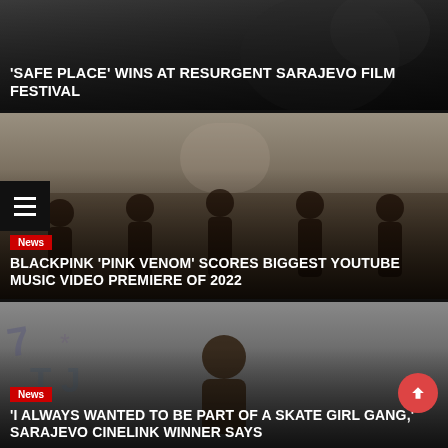'SAFE PLACE' WINS AT RESURGENT SARAJEVO FILM FESTIVAL
[Figure (photo): Dark background image for Sarajevo Film Festival article]
[Figure (photo): BLACKPINK members dancing in a music video scene with ornate interior background]
News
BLACKPINK 'PINK VENOM' SCORES BIGGEST YOUTUBE MUSIC VIDEO PREMIERE OF 2022
[Figure (photo): Young woman skateboarder posed in front of graffiti wall]
News
'I ALWAYS WANTED TO BE PART OF A SKATE GIRL GANG,' SARAJEVO CINELINK WINNER SAYS